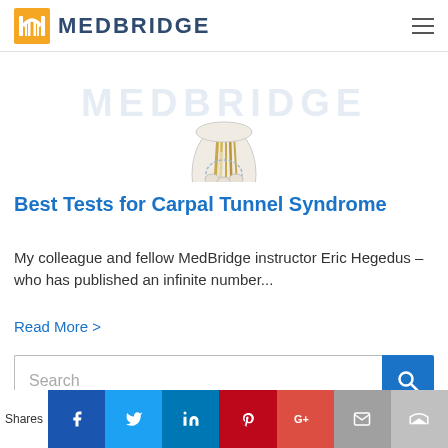[Figure (logo): MedBridge logo with orange/yellow arch icon and dark blue MEDBRIDGE text]
[Figure (illustration): Anatomical illustration of a wrist/carpal tunnel with nerves and tendons visible, shown against a watermark of MEDBRIDGE text]
Best Tests for Carpal Tunnel Syndrome
My colleague and fellow MedBridge instructor Eric Hegedus – who has published an infinite number...
Read More >
[Figure (screenshot): Search bar with placeholder text 'Search' and a blue search button with magnifying glass icon]
[Figure (infographic): Social sharing bar with Shares label and buttons for Facebook, Twitter, LinkedIn, Pinterest, Google+, Email, and crown icon]